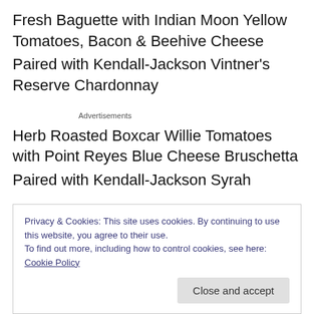Fresh Baguette with Indian Moon Yellow Tomatoes, Bacon & Beehive Cheese
Paired with Kendall-Jackson Vintner's Reserve Chardonnay
Advertisements
Herb Roasted Boxcar Willie Tomatoes with Point Reyes Blue Cheese Bruschetta
Paired with Kendall-Jackson Syrah
Privacy & Cookies: This site uses cookies. By continuing to use this website, you agree to their use.
To find out more, including how to control cookies, see here: Cookie Policy